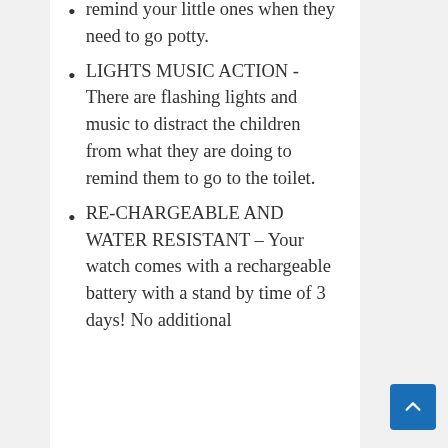remind your little ones when they need to go potty.
LIGHTS MUSIC ACTION -There are flashing lights and music to distract the children from what they are doing to remind them to go to the toilet.
RE-CHARGEABLE AND WATER RESISTANT – Your watch comes with a rechargeable battery with a stand by time of 3 days! No additional